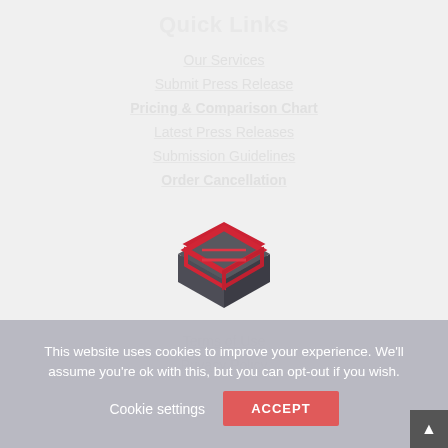Quick Links
Our Services
Submit Press Release
Pricing & Comparison Chart
Latest Press Releases
Submission Guidelines
Order Cancellation
[Figure (logo): Stylized cube logo with red and dark gray S-shaped design]
Terms of Use
Privacy Policy
This website uses cookies to improve your experience. We'll assume you're ok with this, but you can opt-out if you wish.
Cookie settings
ACCEPT